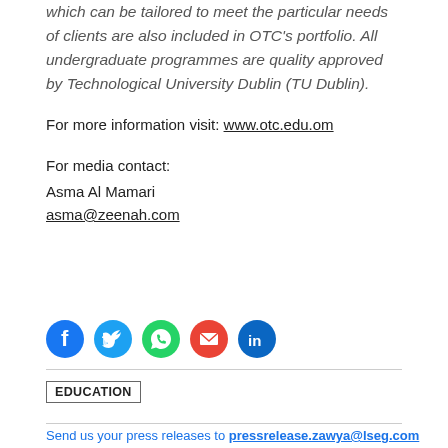which can be tailored to meet the particular needs of clients are also included in OTC's portfolio. All undergraduate programmes are quality approved by Technological University Dublin (TU Dublin).
For more information visit: www.otc.edu.om
For media contact:
Asma Al Mamari
asma@zeenah.com
[Figure (infographic): Row of social media icons: Facebook (blue), Twitter (blue), WhatsApp (green), Email (red envelope), LinkedIn (blue)]
EDUCATION
Send us your press releases to pressrelease.zawya@lseg.com